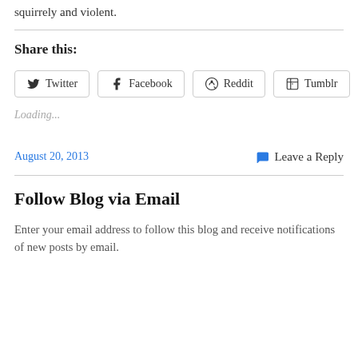squirrely and violent.
Share this:
Twitter Facebook Reddit Tumblr
Loading...
August 20, 2013
Leave a Reply
Follow Blog via Email
Enter your email address to follow this blog and receive notifications of new posts by email.